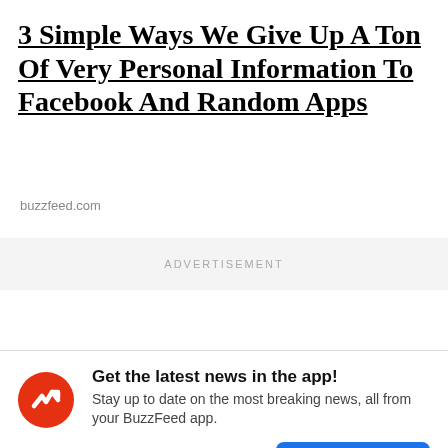3 Simple Ways We Give Up A Ton Of Very Personal Information To Facebook And Random Apps
buzzfeed.com
ADVERTISEMENT
Get the latest news in the app! Stay up to date on the most breaking news, all from your BuzzFeed app.
Maybe later
Get the app